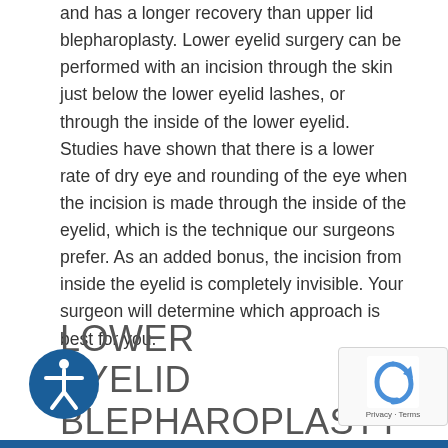and has a longer recovery than upper lid blepharoplasty. Lower eyelid surgery can be performed with an incision through the skin just below the lower eyelid lashes, or through the inside of the lower eyelid. Studies have shown that there is a lower rate of dry eye and rounding of the eye when the incision is made through the inside of the eyelid, which is the technique our surgeons prefer. As an added bonus, the incision from inside the eyelid is completely invisible. Your surgeon will determine which approach is best for you.
LOWER EYELID BLEPHAROPLASTY BEFORE & AFTER